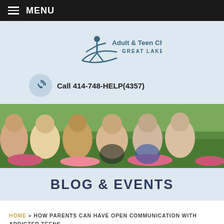MENU
[Figure (logo): Adult & Teen Challenge Great Lakes logo with a star figure and swoosh]
Call 414-748-HELP(4357)
[Figure (photo): Six women smiling outdoors with flowers and green grass in the background]
BLOG & EVENTS
HOME » HOW PARENTS CAN HAVE OPEN COMMUNICATION WITH ADDICTED TEENS